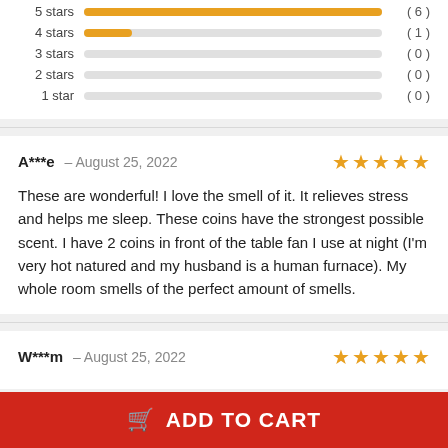[Figure (bar-chart): Star rating distribution]
A***e – August 25, 2022
These are wonderful! I love the smell of it. It relieves stress and helps me sleep. These coins have the strongest possible scent. I have 2 coins in front of the table fan I use at night (I'm very hot natured and my husband is a human furnace). My whole room smells of the perfect amount of smells.
W***m – August 25, 2022
ADD TO CART